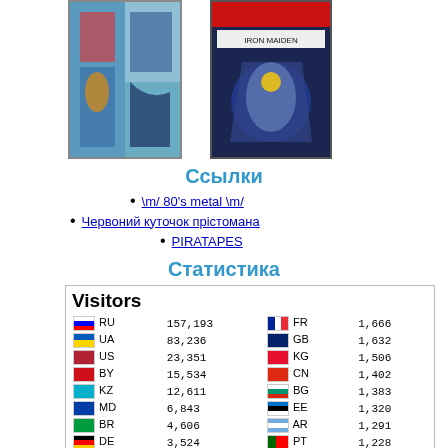[Figure (photo): Two album/game cover images side by side]
Ссылки
\m/ 80's metal \m/
Червоний куточок прістомана
PIRATAPES
Статистика
[Figure (table-as-image): Visitors statistics widget showing country codes and visitor counts: RU 157,193 FR 1,666 UA 83,236 GB 1,632 US 23,351 KG 1,506 BY 15,534 CN 1,402 KZ 12,611 BG 1,383 MD 6,843 EE 1,320 BR 4,606 AR 1,291 DE 3,524 PT 1,228 GE 3,316 UZ 1,213 AM 3,032 AZ 1,130 LV 2,771 NL 1,113 IL 2,594 IT 1,028 LT 2,035 CA 859 ES 1,968 PL 857]